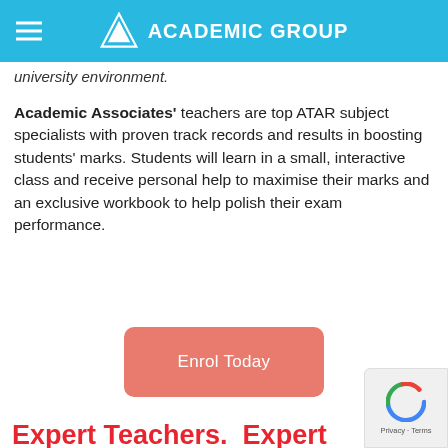ACADEMIC GROUP
university environment.
Academic Associates' teachers are top ATAR subject specialists with proven track records and results in boosting students' marks. Students will learn in a small, interactive class and receive personal help to maximise their marks and an exclusive workbook to help polish their exam performance.
Enrol Today
Expert Teachers.  Expert Resources.  Interactive Classes.  Top Results